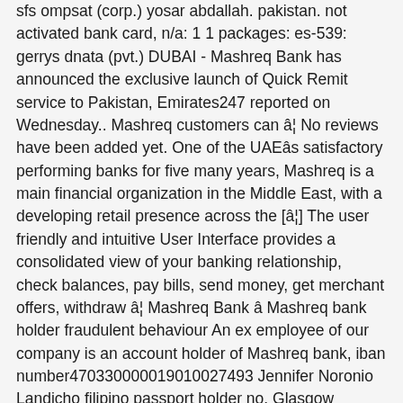sfs ompsat (corp.) yosar abdallah. pakistan. not activated bank card, n/a: 1 1 packages: es-539: gerrys dnata (pvt.) DUBAI - Mashreq Bank has announced the exclusive launch of Quick Remit service to Pakistan, Emirates247 reported on Wednesday.. Mashreq customers can â¦ No reviews have been added yet. One of the UAEâs satisfactory performing banks for five many years, Mashreq is a main financial organization in the Middle East, with a developing retail presence across the [â¦] The user friendly and intuitive User Interface provides a consolidated view of your banking relationship, check balances, pay bills, send money, get merchant offers, withdraw â¦ Mashreq Bank â Mashreq bank holder fraudulent behaviour An ex employee of our company is an account holder of Mashreq bank, iban number470330000019010027493 Jennifer Noronio Landicho filipino passport holder no. Glasgow Caledonian University. Join Mashreq Bank by applying upcoming vacancies today. In 1993, the bank changed its name to Mashreq Bank and is now one of the UAE's leading financial institutions. Aimed at facilitating the growing market of Islamic [â¦] Mashreq Mobile is